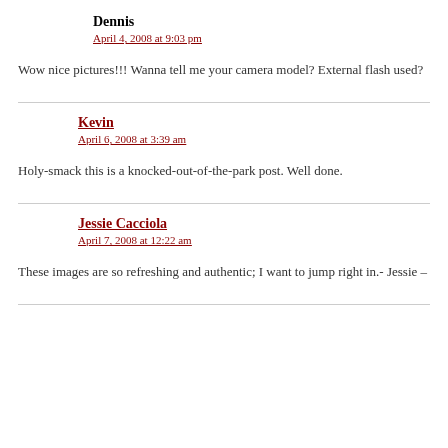Dennis
April 4, 2008 at 9:03 pm
Wow nice pictures!!! Wanna tell me your camera model? External flash used?
Kevin
April 6, 2008 at 3:39 am
Holy-smack this is a knocked-out-of-the-park post. Well done.
Jessie Cacciola
April 7, 2008 at 12:22 am
These images are so refreshing and authentic; I want to jump right in.- Jessie –